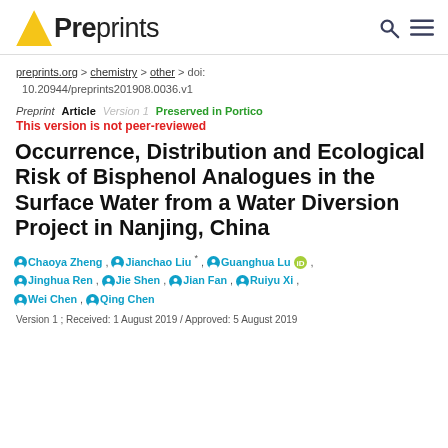[Figure (logo): Preprints.org logo with yellow slash and search/menu icons]
preprints.org > chemistry > other > doi: 10.20944/preprints201908.0036.v1
Preprint  Article  Version 1  Preserved in Portico
This version is not peer-reviewed
Occurrence, Distribution and Ecological Risk of Bisphenol Analogues in the Surface Water from a Water Diversion Project in Nanjing, China
Chaoya Zheng , Jianchao Liu * , Guanghua Lu [ORCID] , Jinghua Ren , Jie Shen , Jian Fan , Ruiyu Xi , Wei Chen , Qing Chen
Version 1 ; Received: 1 August 2019 / Approved: 5 August 2019